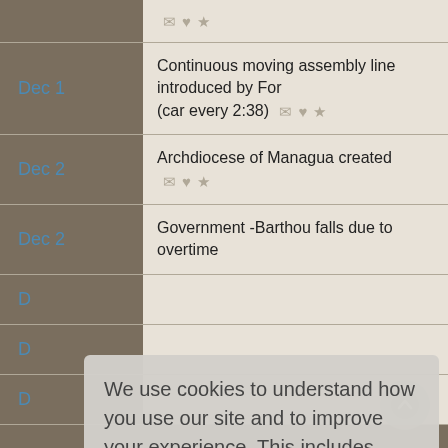[partial row at top]
Dec 1 — Continuous moving assembly line introduced by Ford (car every 2:38)
Dec 2 — Archdiocese of Managua created
Dec 2 — Government -Barthou falls due to overtime
We use cookies to understand how you use our site and to improve your experience. This includes personalizing content for you and for the display and tracking of advertising. By continuing to use our site, you accept and agree to our use of cookies. Privacy Policy
Got it!